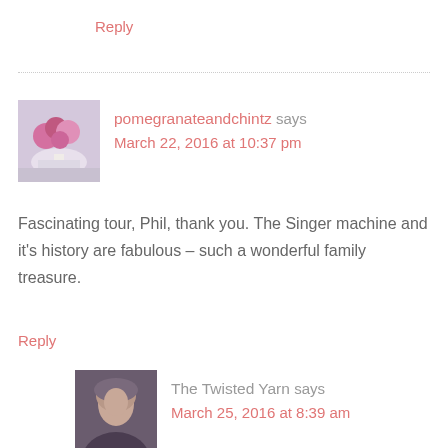Reply
pomegranateandchintz says
March 22, 2016 at 10:37 pm
Fascinating tour, Phil, thank you. The Singer machine and it's history are fabulous – such a wonderful family treasure.
Reply
The Twisted Yarn says
March 25, 2016 at 8:39 am